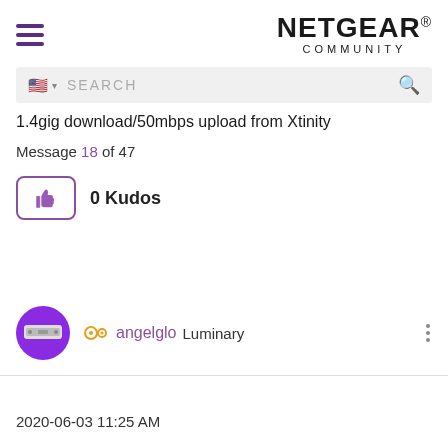[Figure (logo): NETGEAR COMMUNITY logo with hamburger menu icon]
[Figure (screenshot): Search bar with US flag, SEARCH placeholder, and magnifying glass icon]
1.4gig download/50mbps upload from Xtinity
Message 18 of 47
[Figure (illustration): Kudos thumbs-up button with 0 Kudos label]
[Figure (illustration): User avatar and angelglo Luminary user info with options dots]
2020-06-03 11:25 AM